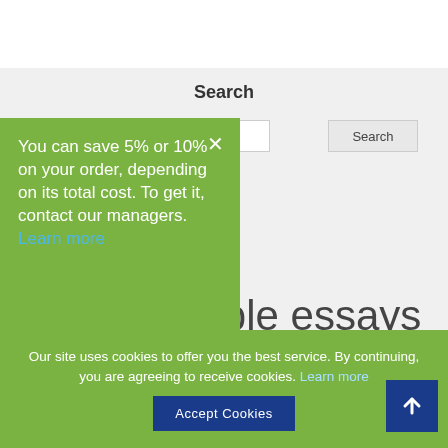Search
You can save 5% or 10% on your order, depending on its total cost. To get it, contact our managers. Learn more
Find example essays for every assignment
Our site uses cookies to offer you the best service. By continuing, you are agreeing to receive cookies. Learn more
Accept Cookies